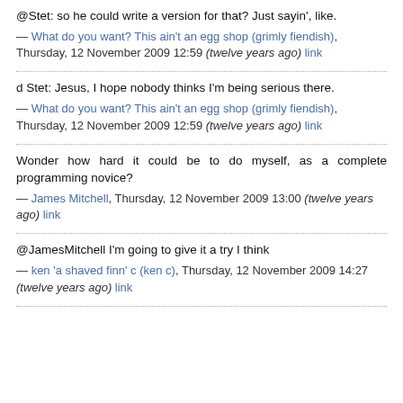@Stet: so he could write a version for that? Just sayin', like.
— What do you want? This ain't an egg shop (grimly fiendish), Thursday, 12 November 2009 12:59 (twelve years ago) link
d Stet: Jesus, I hope nobody thinks I'm being serious there.
— What do you want? This ain't an egg shop (grimly fiendish), Thursday, 12 November 2009 12:59 (twelve years ago) link
Wonder how hard it could be to do myself, as a complete programming novice?
— James Mitchell, Thursday, 12 November 2009 13:00 (twelve years ago) link
@JamesMitchell I'm going to give it a try I think
— ken 'a shaved finn' c (ken c), Thursday, 12 November 2009 14:27 (twelve years ago) link